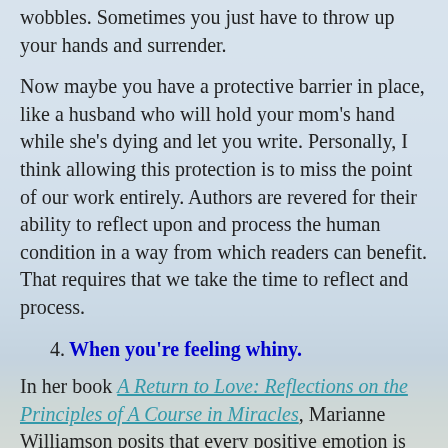wobbles. Sometimes you just have to throw up your hands and surrender.
Now maybe you have a protective barrier in place, like a husband who will hold your mom's hand while she's dying and let you write. Personally, I think allowing this protection is to miss the point of our work entirely. Authors are revered for their ability to reflect upon and process the human condition in a way from which readers can benefit. That requires that we take the time to reflect and process.
4. When you're feeling whiny.
In her book A Return to Love: Reflections on the Principles of A Course in Miracles, Marianne Williamson posits that every positive emotion is rooted in love, and every negative